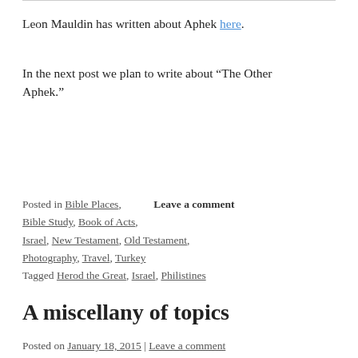Leon Mauldin has written about Aphek here.
In the next post we plan to write about “The Other Aphek.”
Posted in Bible Places, Bible Study, Book of Acts, Israel, New Testament, Old Testament, Photography, Travel, Turkey
Leave a comment
Tagged Herod the Great, Israel, Philistines
A miscellany of topics
Posted on January 18, 2015 | Leave a comment